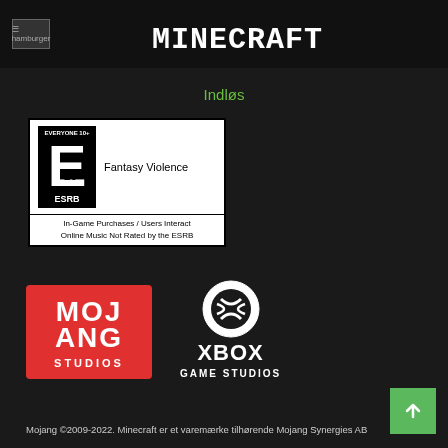hamburger | MINECRAFT
Indløs
[Figure (other): ESRB rating box showing Everyone 10+ (E10+) rating with Fantasy Violence content descriptor, In-Game Purchases / Users Interact, Online Music Not Rated by the ESRB]
[Figure (logo): Mojang Studios logo - red square with white stylized text MOJ ANG STUDIOS]
[Figure (logo): Xbox Game Studios logo - white Xbox sphere icon with XBOX GAME STUDIOS text below]
Mojang ©2009-2022. Minecraft er et varemærke tilhørende Mojang Synergies AB